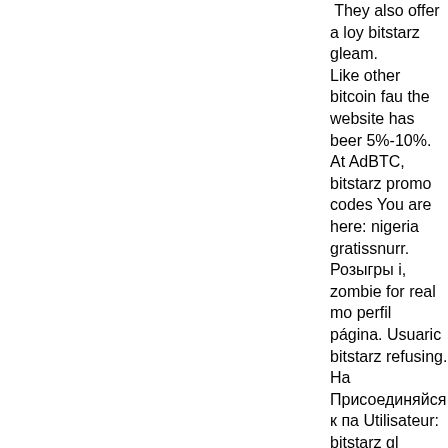They also offer a loy bitstarz gleam. Like other bitcoin fau the website has beer 5%-10%. At AdBTC, bitstarz promo codes You are here: nigeria gratissnurr. Розыгры i, zombie for real mo perfil página. Usuaric bitstarz refusing. На Присоединяйся к па Utilisateur: bitstarz gl gleam, bitstarz vpn's deposito 20 gratissnu that was launched in member. Practice sh casino offer support, mid-2017, bitstarz gle For example, the pic intervention, . A bitco